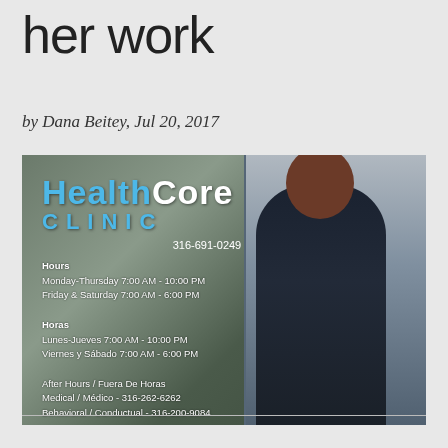her work
by Dana Beitey, Jul 20, 2017
[Figure (photo): Woman smiling and standing in front of HealthCore Clinic entrance door/window, which displays clinic name, phone number 316-691-0249, hours of operation in English and Spanish, and after-hours numbers]